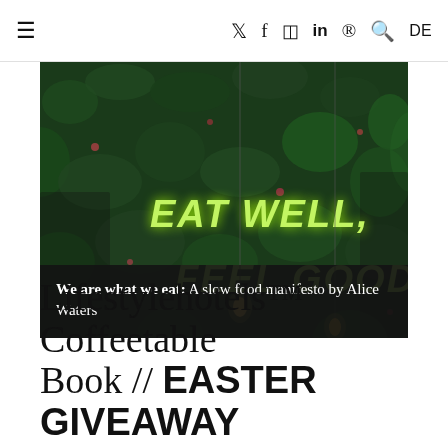≡ Twitter Facebook Instagram LinkedIn Pinterest Search DE
[Figure (photo): Photo of green ivy wall with neon sign reading 'EAT WELL, FEEL GOOD' with hanging Edison bulbs]
We are what we eat: A slow food manifesto by Alice Waters
Lifestylehotels™ Coffeetable Book // EASTER GIVEAWAY